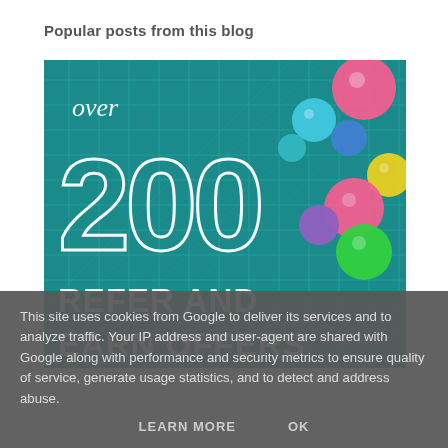Popular posts from this blog
[Figure (infographic): Infographic with teal grid background and colorful balls reading 'over 200 REFER AND EARN OFFERS']
This site uses cookies from Google to deliver its services and to analyze traffic. Your IP address and user-agent are shared with Google along with performance and security metrics to ensure quality of service, generate usage statistics, and to detect and address abuse.
LEARN MORE   OK